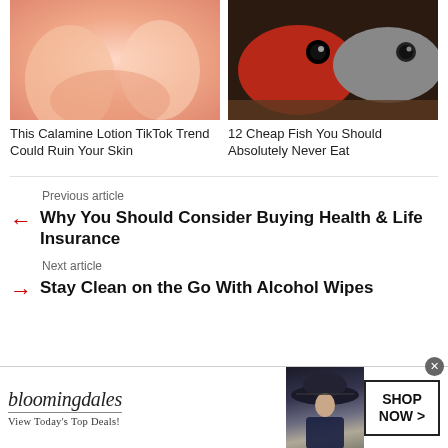[Figure (photo): Close-up of skin with fingers, pinkish skin tone]
[Figure (photo): Two red/grey fish heads on dark wooden surface]
This Calamine Lotion TikTok Trend Could Ruin Your Skin
12 Cheap Fish You Should Absolutely Never Eat
Previous article
Why You Should Consider Buying Health & Life Insurance
Next article
Stay Clean on the Go With Alcohol Wipes
[Figure (illustration): Bloomingdale's advertisement: logo, View Today's Top Deals!, model with hat, SHOP NOW > button]